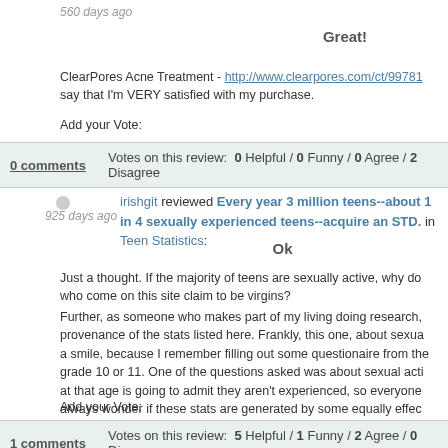560 days ago
Great!
ClearPores Acne Treatment - http://www.clearpores.com/ct/99781 say that I'm VERY satisfied with my purchase.
Add your Vote:
0 comments   Votes on this review:  0 Helpful / 0 Funny / 0 Agree / 2 Disagree
irishgit reviewed Every year 3 million teens--about 1 in 4 sexually experienced teens--acquire an STD. in Teen Statistics:
Ok
Just a thought. If the majority of teens are sexually active, why do who come on this site claim to be virgins?
Further, as someone who makes part of my living doing research, provenance of the stats listed here. Frankly, this one, about sexua a smile, because I remember filling out some questionaire from the grade 10 or 11. One of the questions asked was about sexual acti at that age is going to admit they aren't experienced, so everyone always wonder if these stats are generated by some equally effec
Add your Vote:
1 comments   Votes on this review:  5 Helpful / 1 Funny / 2 Agree / 0 Disagree